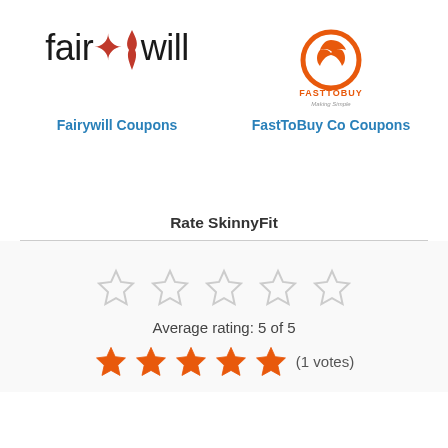[Figure (logo): Fairywill brand logo in black with red flame accent]
[Figure (logo): FastToBuy Co logo with orange circular bird graphic and text FASTTOBUY Making Simple]
Fairywill Coupons
FastToBuy Co Coupons
Rate SkinnyFit
[Figure (other): 5 empty/outline star rating widgets]
Average rating: 5 of 5
[Figure (other): 5 filled orange stars followed by (1 votes)]